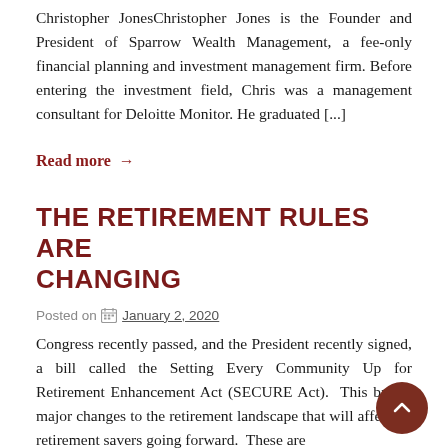Christopher JonesChristopher Jones is the Founder and President of Sparrow Wealth Management, a fee-only financial planning and investment management firm. Before entering the investment field, Chris was a management consultant for Deloitte Monitor. He graduated [...]
Read more →
THE RETIREMENT RULES ARE CHANGING
Posted on January 2, 2020
Congress recently passed, and the President recently signed, a bill called the Setting Every Community Up for Retirement Enhancement Act (SECURE Act). This brings major changes to the retirement landscape that will affect all retirement savers going forward. These are